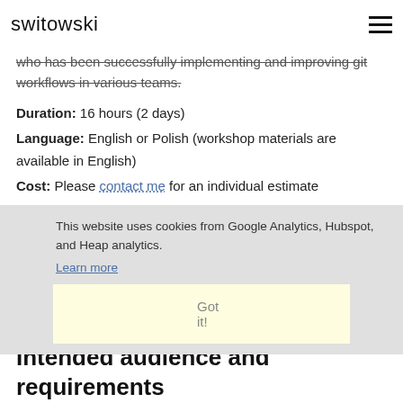switowski
who has been successfully implementing and improving git workflows in various teams.
Duration: 16 hours (2 days)
Language: English or Polish (workshop materials are available in English)
Cost: Please contact me for an individual estimate
Location: On-site - anywhere in Europe, North America or Asia
Maximum group size: 12 people
This website uses cookies from Google Analytics, Hubspot, and Heap analytics. Learn more Got it!
Intended audience and requirements